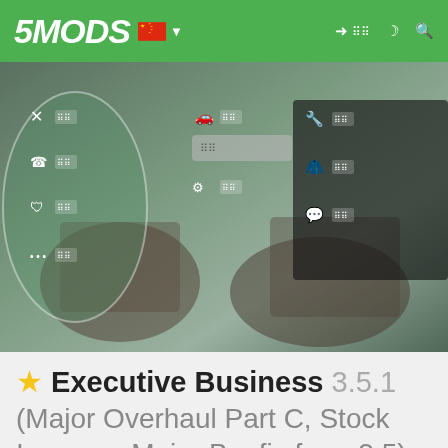[Figure (screenshot): 5MODS website navigation bar with green background, logo '5MODS', Chinese flag, navigation icons (login, moon/dark mode, search), and a hero banner showing a blurred in-game screenshot with a white icon navigation menu overlay]
★ Executive Business 3.5.1 (Major Overhaul Part C, Stock Increase Major Bugfix from 3.5)